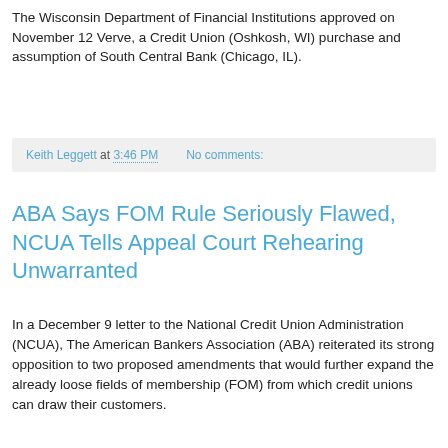The Wisconsin Department of Financial Institutions approved on November 12 Verve, a Credit Union (Oshkosh, WI) purchase and assumption of South Central Bank (Chicago, IL).
Keith Leggett at 3:46 PM   No comments:
ABA Says FOM Rule Seriously Flawed, NCUA Tells Appeal Court Rehearing Unwarranted
In a December 9 letter to the National Credit Union Administration (NCUA), The American Bankers Association (ABA) reiterated its strong opposition to two proposed amendments that would further expand the already loose fields of membership (FOM) from which credit unions can draw their customers.